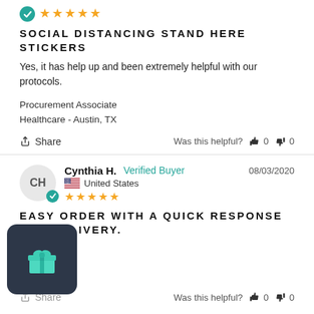[Figure (other): Five gold stars rating with a partial teal verified check badge icon at top-left]
SOCIAL DISTANCING STAND HERE STICKERS
Yes, it has help up and been extremely helpful with our protocols.
Procurement Associate
Healthcare - Austin, TX
Share   Was this helpful?  👍 0  👎 0
[Figure (other): Reviewer avatar circle with initials CH and teal verified badge, US flag, reviewer name Cynthia H., Verified Buyer label, date 08/03/2020, and five gold stars]
EASY ORDER WITH A QUICK RESPONSE AND DELIVERY.
9 Signage
[Figure (other): Dark rounded square gift widget icon with teal gift box icon]
Share   Was this helpful?  👍 0  👎 0